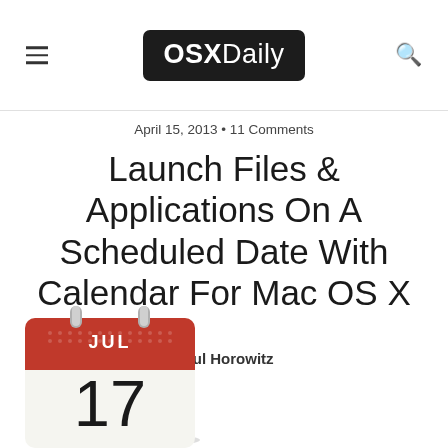OSXDaily
April 15, 2013 • 11 Comments
Launch Files & Applications On A Scheduled Date With Calendar For Mac OS X
Paul Horowitz
[Figure (illustration): Mac OS X Calendar app icon showing a desk calendar with a red header labeled JUL and the number 17]